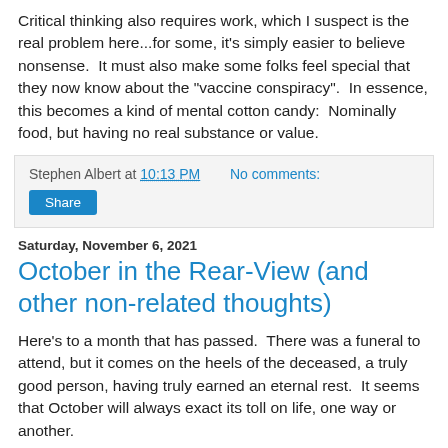Critical thinking also requires work, which I suspect is the real problem here...for some, it's simply easier to believe nonsense.  It must also make some folks feel special that they now know about the "vaccine conspiracy".  In essence, this becomes a kind of mental cotton candy:  Nominally food, but having no real substance or value.
Stephen Albert at 10:13 PM   No comments:
Share
Saturday, November 6, 2021
October in the Rear-View (and other non-related thoughts)
Here's to a month that has passed.  There was a funeral to attend, but it comes on the heels of the deceased, a truly good person, having truly earned an eternal rest.  It seems that October will always exact its toll on life, one way or another.